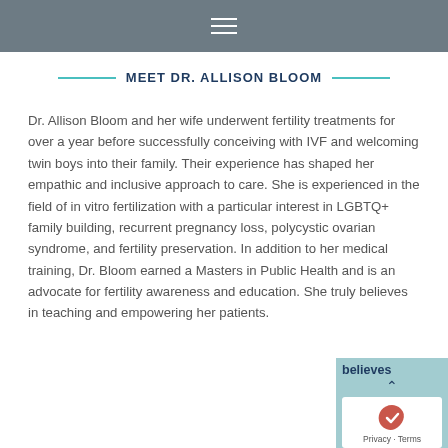≡
MEET DR. ALLISON BLOOM
Dr. Allison Bloom and her wife underwent fertility treatments for over a year before successfully conceiving with IVF and welcoming twin boys into their family. Their experience has shaped her empathic and inclusive approach to care. She is experienced in the field of in vitro fertilization with a particular interest in LGBTQ+ family building, recurrent pregnancy loss, polycystic ovarian syndrome, and fertility preservation. In addition to her medical training, Dr. Bloom earned a Masters in Public Health and is an advocate for fertility awareness and education. She truly believes in teaching and empowering her patients.